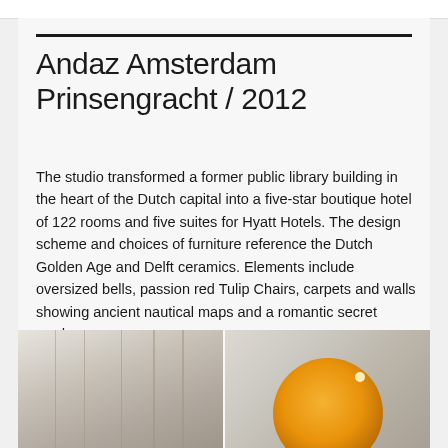Andaz Amsterdam Prinsengracht / 2012
The studio transformed a former public library building in the heart of the Dutch capital into a five-star boutique hotel of 122 rooms and five suites for Hyatt Hotels. The design scheme and choices of furniture reference the Dutch Golden Age and Delft ceramics. Elements include oversized bells, passion red Tulip Chairs, carpets and walls showing ancient nautical maps and a romantic secret garden.
[Figure (photo): Two photographs side by side: left shows a bedroom interior with white sheer curtains and canopy; right shows a large decorative lamp with an orange/amber globe shade.]